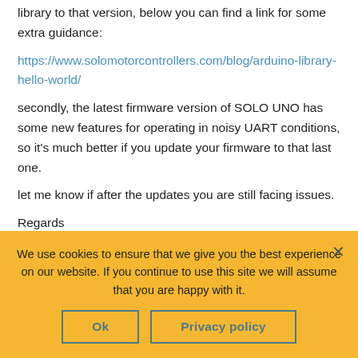library to that version, below you can find a link for some extra guidance:
https://www.solomotorcontrollers.com/blog/arduino-library-hello-world/
secondly, the latest firmware version of SOLO UNO has some new features for operating in noisy UART conditions, so it's much better if you update your firmware to that last one.
let me know if after the updates you are still facing issues.
Regards
We use cookies to ensure that we give you the best experience on our website. If you continue to use this site we will assume that you are happy with it.